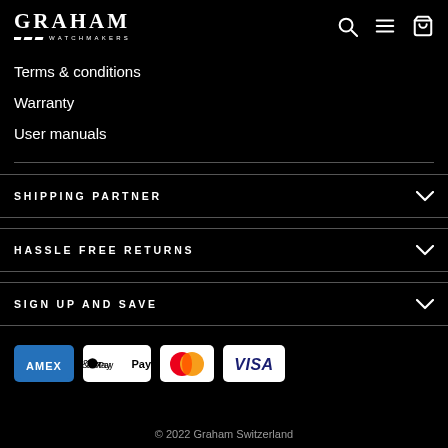[Figure (logo): Graham Watchmakers logo — stylized text GRAHAM with WATCHMAKERS subtitle and decorative slashes, white on black]
Terms & conditions
Warranty
User manuals
SHIPPING PARTNER
HASSLE FREE RETURNS
SIGN UP AND SAVE
[Figure (logo): Payment method icons: American Express (AMEX), Apple Pay, Mastercard, Visa]
© 2022 Graham Switzerland